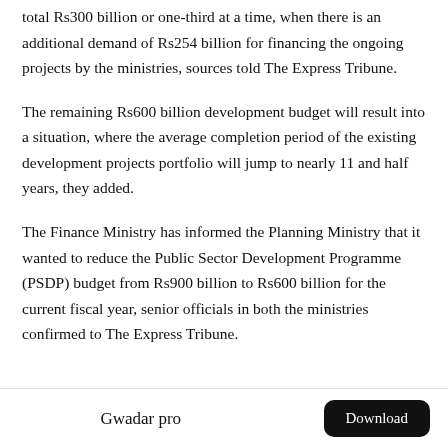total Rs300 billion or one-third at a time, when there is an additional demand of Rs254 billion for financing the ongoing projects by the ministries, sources told The Express Tribune.
The remaining Rs600 billion development budget will result into a situation, where the average completion period of the existing development projects portfolio will jump to nearly 11 and half years, they added.
The Finance Ministry has informed the Planning Ministry that it wanted to reduce the Public Sector Development Programme (PSDP) budget from Rs900 billion to Rs600 billion for the current fiscal year, senior officials in both the ministries confirmed to The Express Tribune.
Gwadar pro | Download